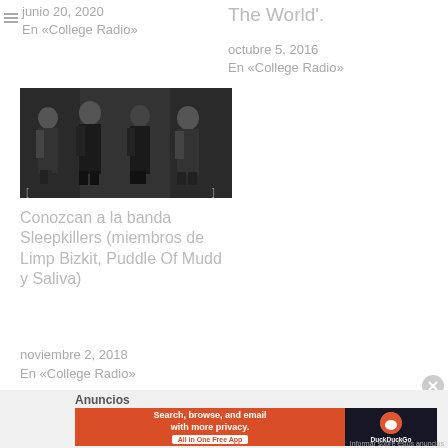junio 20, 2020
En «College Radio»
The World'.
octubre 5, 2016
En «College Radio»
[Figure (photo): Black and white photo of four band members dressed in black standing together]
Conozcan a la banda Sleepkillers (miembros de Limp Bizkit, Puddle Of Mudd y Saliva)
noviembre 2, 2018
En «College Radio»
Anuncios
Search, browse, and email with more privacy. All in One Free App